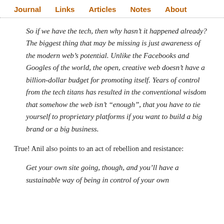Journal   Links   Articles   Notes   About
So if we have the tech, then why hasn’t it happened already? The biggest thing that may be missing is just awareness of the modern web’s potential. Unlike the Facebooks and Googles of the world, the open, creative web doesn’t have a billion-dollar budget for promoting itself. Years of control from the tech titans has resulted in the conventional wisdom that somehow the web isn’t “enough”, that you have to tie yourself to proprietary platforms if you want to build a big brand or a big business.
True! Anil also points to an act of rebellion and resistance:
Get your own site going, though, and you’ll have a sustainable way of being in control of your own